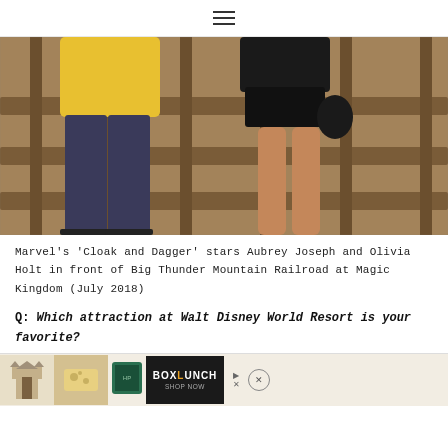≡
[Figure (photo): Two people standing in front of Big Thunder Mountain Railroad fencing at Magic Kingdom. One person wears a yellow shirt and dark jeans, the other wears a black top and black shorts, showing bare legs.]
Marvel's 'Cloak and Dagger' stars Aubrey Joseph and Olivia Holt in front of Big Thunder Mountain Railroad at Magic Kingdom (July 2018)
Q: Which attraction at Walt Disney World Resort is your favorite?
A: Oh!... Big Thunder Mountain Railroad...